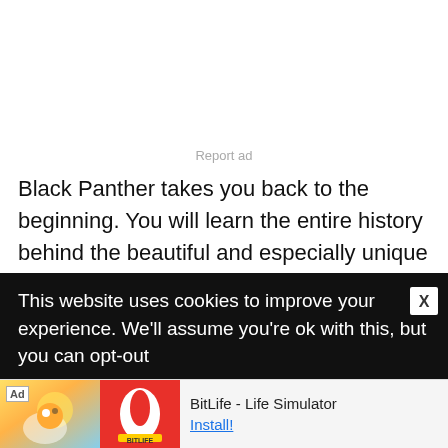Report ad
Black Panther takes you back to the beginning. You will learn the entire history behind the beautiful and especially unique country of Wakanda. The appearance of Wakanda to the general public outside of the country is an entirely different one from the reality of life within...
This website uses cookies to improve your experience. We'll assume you're ok with this, but you can opt-out
[Figure (screenshot): Mobile advertisement banner for BitLife - Life Simulator app, showing cartoon character, red BitLife logo, app name and Install button]